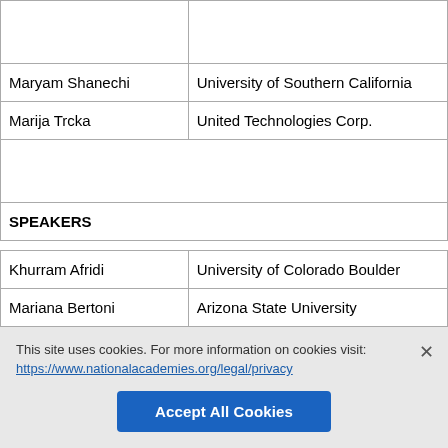| Name | Organization |
| --- | --- |
|  |  |
| Maryam Shanechi | University of Southern California |
| Marija Trcka | United Technologies Corp. |
|  |  |
| SPEAKERS |  |
| Khurram Afridi | University of Colorado Boulder |
| Mariana Bertoni | Arizona State University |
| Juan Betancur | AS+GG |
This site uses cookies. For more information on cookies visit: https://www.nationalacademies.org/legal/privacy
Accept All Cookies